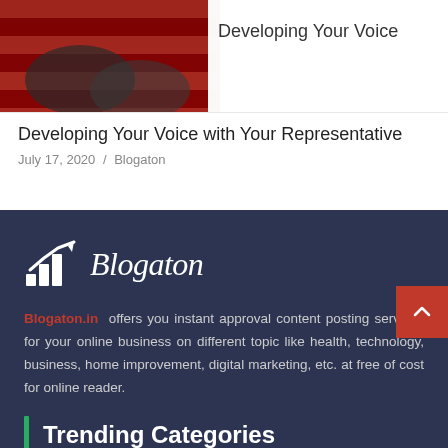[Figure (photo): Hero image showing handshake against American flag background, with BUSINESS tag and 'Developing Your Voice' title overlay]
Developing Your Voice with Your Representative
July 17, 2020 / Blogaton
[Figure (logo): Blogaton logo with bar chart / arrow icon in white on dark navy background]
Blogaton.in offers you instant approval content posting services for your online business on different topic like health, technology, business, home improvement, digital marketing, etc. at free of cost for online reader.
Trending Categories